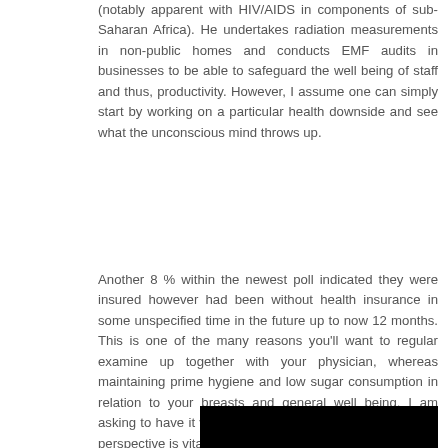(notably apparent with HIV/AIDS in components of sub-Saharan Africa). He undertakes radiation measurements in non-public homes and conducts EMF audits in businesses to be able to safeguard the well being of staff and thus, productivity. However, I assume one can simply start by working on a particular health downside and see what the unconscious mind throws up.
Another 8 % within the newest poll indicated they were insured however had been without health insurance in some unspecified time in the future up to now 12 months. This is one of the many reasons you'll want to regular examine up together with your physician, whereas maintaining prime hygiene and low sugar consumption in relation to your breasts and general well being. I am asking to have it voided." This is the place a public health perspective is vital.
[Figure (other): Black rectangle/banner at the bottom of the page]